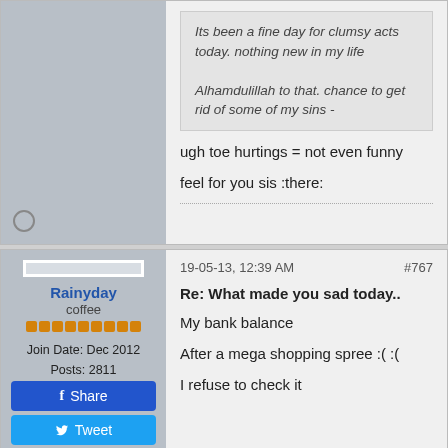Its been a fine day for clumsy acts today. nothing new in my life

Alhamdulillah to that. chance to get rid of some of my sins -
ugh toe hurtings = not even funny
feel for you sis :there:
19-05-13, 12:39 AM    #767
Rainyday
coffee
Join Date: Dec 2012
Posts: 2811
Re: What made you sad today..

My bank balance

After a mega shopping spree :( :(

I refuse to check it